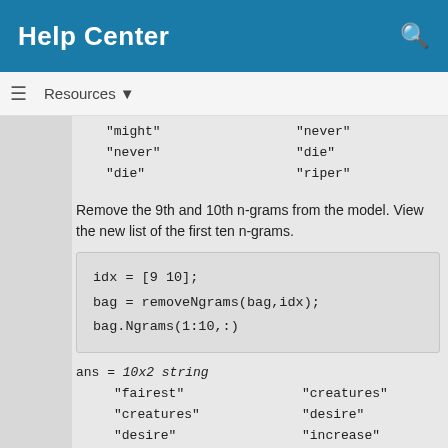Help Center
Resources ▼
"might"   "never"
"never"   "die"
"die"      "riper"
Remove the 9th and 10th n-grams from the model. View the new list of the first ten n-grams.
idx = [9 10];
bag = removeNgrams(bag,idx);
bag.Ngrams(1:10,:)
ans = 10x2 string
  "fairest"    "creatures"
  "creatures"  "desire"
  "desire"     "increase"
  "increase"   "thereby"
  "thereby"    "beautys"
  "beautys"    "rose"
  "rose"       "might"